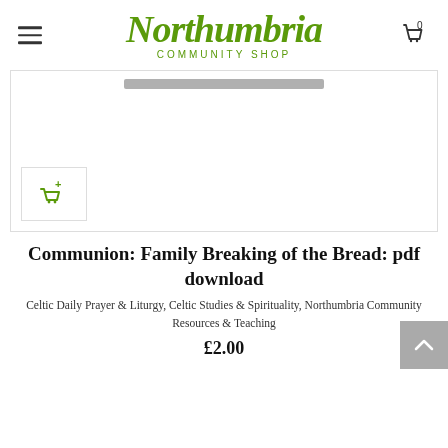Northumbria Community Shop
[Figure (screenshot): Product image area showing top of a book/document with a grey bar, and an add-to-cart icon button in the lower left]
Communion: Family Breaking of the Bread: pdf download
Celtic Daily Prayer & Liturgy, Celtic Studies & Spirituality, Northumbria Community Resources & Teaching
£2.00